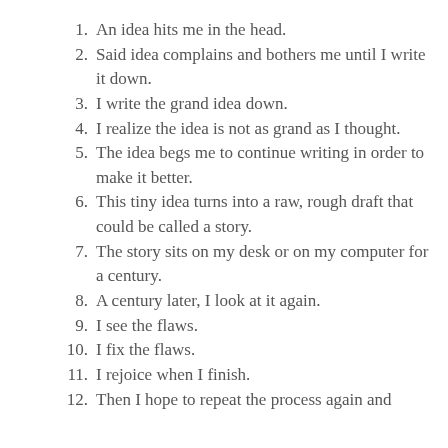1. An idea hits me in the head.
2. Said idea complains and bothers me until I write it down.
3. I write the grand idea down.
4. I realize the idea is not as grand as I thought.
5. The idea begs me to continue writing in order to make it better.
6. This tiny idea turns into a raw, rough draft that could be called a story.
7. The story sits on my desk or on my computer for a century.
8. A century later, I look at it again.
9. I see the flaws.
10. I fix the flaws.
11. I rejoice when I finish.
12. Then I hope to repeat the process again and